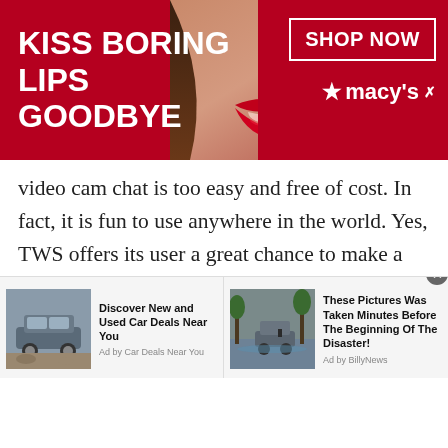[Figure (screenshot): Macy's advertisement banner: red background with woman's face/lips, text 'KISS BORING LIPS GOODBYE', 'SHOP NOW' button, Macy's star logo]
video cam chat is too easy and free of cost. In fact, it is fun to use anywhere in the world. Yes, TWS offers its user a great chance to make a video call anywhere and everywhere in the world. Remember, gay video chat or webcam chat is just one click away. Yes, you don't need to install any software to start a gay video chat. Well, not only gay users, TWS always welcome teen boys, girls, male and female strangers, lesbians or everyone on this free online chat.
[Figure (screenshot): Bottom advertisement bar with two ads: 'Discover New and Used Car Deals Near You' by Car Deals Near You, and 'These Pictures Was Taken Minutes Before The Beginning Of The Disaster!' by BillyNews]